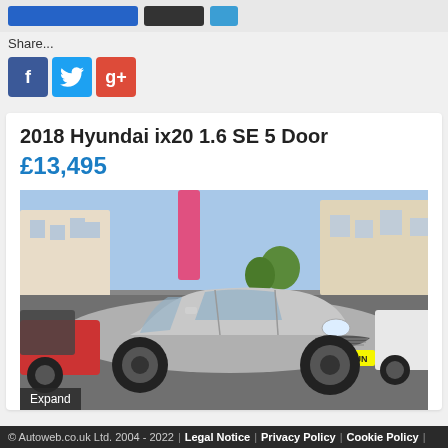[Figure (screenshot): Top navigation bar with blue wide button, dark button, and small blue button]
Share...
[Figure (infographic): Social sharing icons: Facebook (blue), Twitter (light blue), Google+ (red-orange)]
2018 Hyundai ix20 1.6 SE 5 Door
£13,495
[Figure (photo): Silver Hyundai ix20 with registration plate GY68 KUN parked in a car dealership lot, with buildings in the background. An 'Expand' label is overlaid at the bottom left.]
© Autoweb.co.uk Ltd. 2004 - 2022 | Legal Notice | Privacy Policy | Cookie Policy |